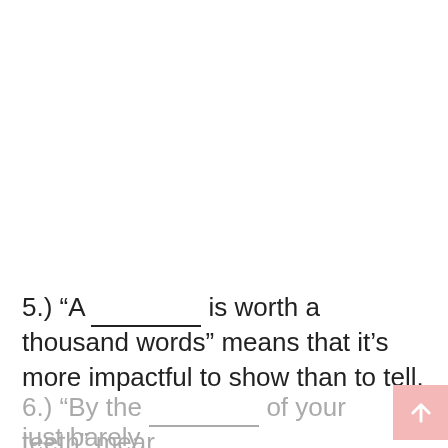5.) "A __________ is worth a thousand words" means that it's more impactful to show than to tell.
6.) "By the __________ of your teeth" means just barely